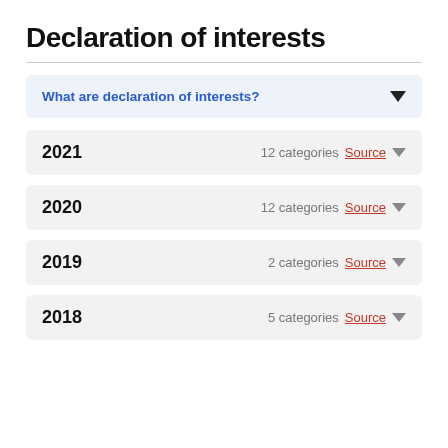Declaration of interests
What are declaration of interests?
2021  12 categories Source
2020  12 categories Source
2019  2 categories Source
2018  5 categories Source